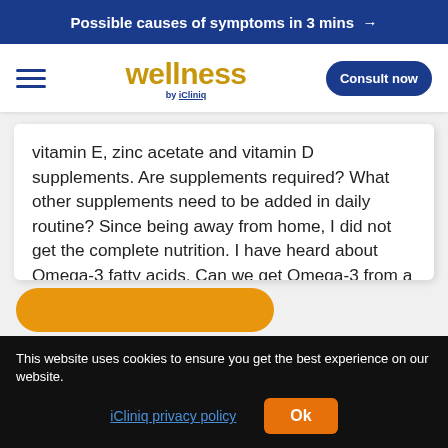Possible causes of symptoms in 3 mins →
[Figure (logo): Wellness by iCliniq logo with hamburger menu and Consult now button]
vitamin E, zinc acetate and vitamin D supplements. Are supplements required? What other supplements need to be added in daily routine? Since being away from home, I did not get the complete nutrition. I have heard about Omega-3 fatty acids. Can we get Omega-3 from a natural source or we need to take a supplement for this? Which oil should be used for cooking?
This website uses cookies to ensure you get the best experience on our website. iCliniq privacy policy  Ok